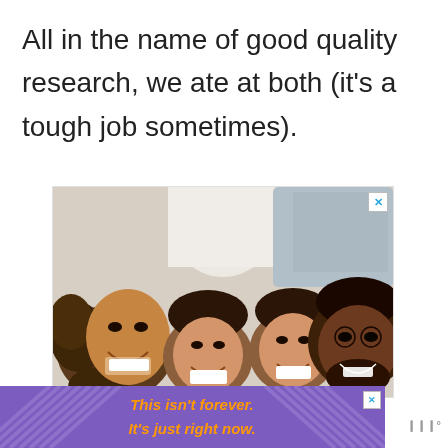All in the name of good quality research, we ate at both (it's a tough job sometimes).
[Figure (photo): Overhead view of a smiling family of four lying on a bed looking up at the camera — two adults and two children with curly dark hair, dressed casually]
[Figure (infographic): Purple advertisement banner with orange italic bold text reading 'This isn't forever. It's just right now.' with decorative radiating stripe pattern on left and right sides and a close (X) button]